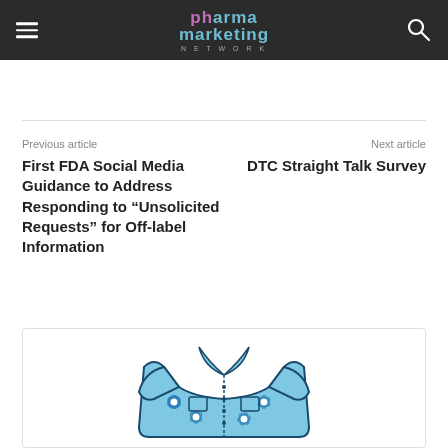pharma marketing NETWORK
Previous article
First FDA Social Media Guidance to Address Responding to “Unsolicited Requests” for Off-label Information
Next article
DTC Straight Talk Survey
[Figure (illustration): Hawaiian shirt illustration — a light blue short-sleeved shirt with large tropical flower (hibiscus) pattern in darker blue and white, shown flat/open with collar, buttons, and two front pockets]